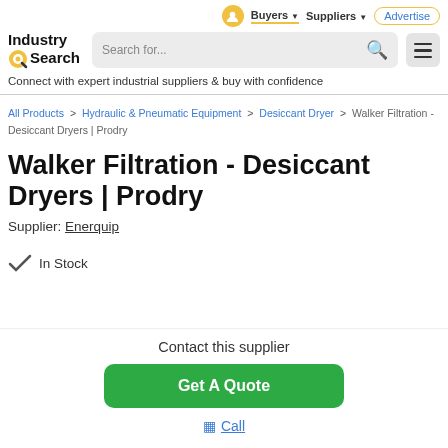Buyers | Suppliers | Advertise
[Figure (logo): Industry Search logo with magnifying glass icon]
Connect with expert industrial suppliers & buy with confidence
All Products > Hydraulic & Pneumatic Equipment > Desiccant Dryer > Walker Filtration - Desiccant Dryers | Prodry
Walker Filtration - Desiccant Dryers | Prodry
Supplier: Enerquip
In Stock
Contact this supplier
Get A Quote
Call